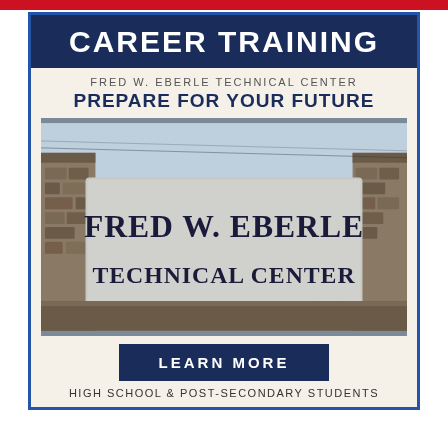CAREER TRAINING
FRED W. EBERLE TECHNICAL CENTER
PREPARE FOR YOUR FUTURE
[Figure (photo): Exterior stone sign reading 'FRED W. EBERLE TECHNICAL CENTER' mounted between two stone pillars with sky in background]
LEARN MORE
HIGH SCHOOL & POST-SECONDARY STUDENTS